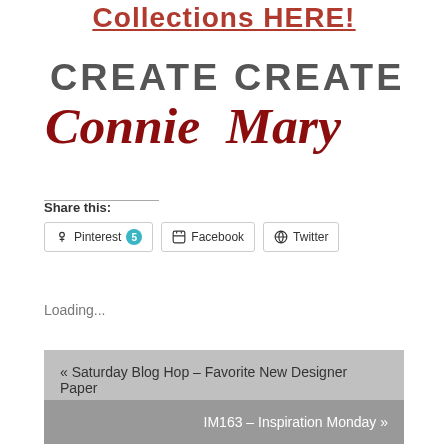Collections HERE!
[Figure (logo): Two logos side by side: 'CREATE Connie' and 'CREATE Mary' in a branded typography style with script lettering in dark red/crimson for the names]
Share this:
Pinterest 5  Facebook  Twitter
Loading...
« Saturday Blog Hop – Favorite New Designer Paper
IM163 – Inspiration Monday »